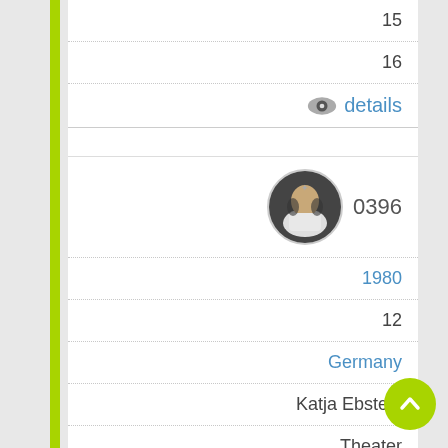15
16
details
[Figure (photo): Circular avatar photo of a performer on stage, possibly holding microphones, wearing white outfit]
0396
1980
12
Germany
Katja Ebstein
Theater